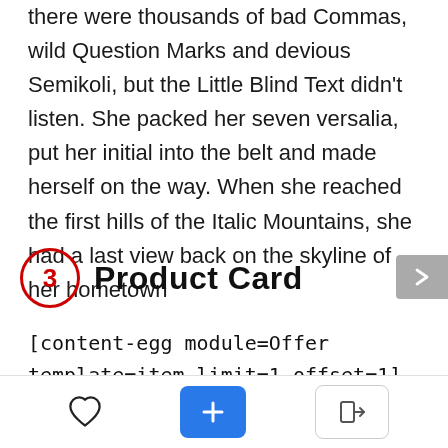there were thousands of bad Commas, wild Question Marks and devious Semikoli, but the Little Blind Text didn't listen. She packed her seven versalia, put her initial into the belt and made herself on the way. When she reached the first hills of the Italic Mountains, she had a last view back on the skyline of her hometown
3 Product Card
[content-egg module=Offer template=item limit=1 offset=1]